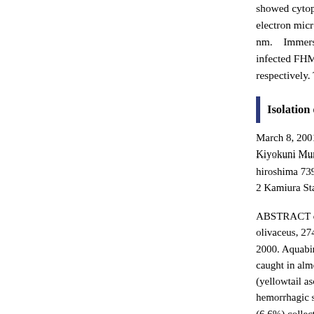showed cytopathic effects on electron microscope revealed nm. Immersion infection infected FHM cells, produc respectively. This is the firs
Isolation of Viruses fro
March 8, 2001<>Ryoko Ta Kiyokuni Muroga1<>1 Fac hiroshima 739-8528, Japan 2 Kamiura Station of Japan
ABSTRACT or a survey o olivaceus, 274 fish (body w 2000. Aquabirnaviruses we caught in almost all the coa (yellowtail ascites virus) by hemorrhagic septicemia vir (6.6%) collected in 2 areas